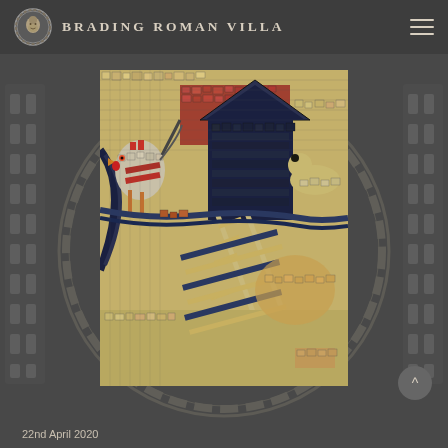Brading Roman Villa
[Figure (photo): Close-up photograph of an ancient Roman mosaic floor showing a rooster, a building structure with a ladder, and other animals rendered in small tesserae tiles of cream, red, blue, black, and gold colors.]
22nd April 2020